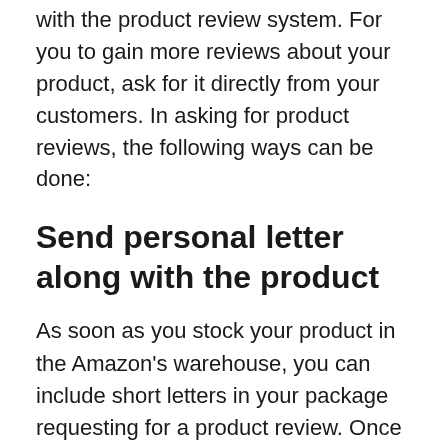with the product review system. For you to gain more reviews about your product, ask for it directly from your customers. In asking for product reviews, the following ways can be done:
Send personal letter along with the product
As soon as you stock your product in the Amazon's warehouse, you can include short letters in your package requesting for a product review. Once the order has been placed and your customer has received the item, they receive the letter as well. While this doesn't immediately mean they would